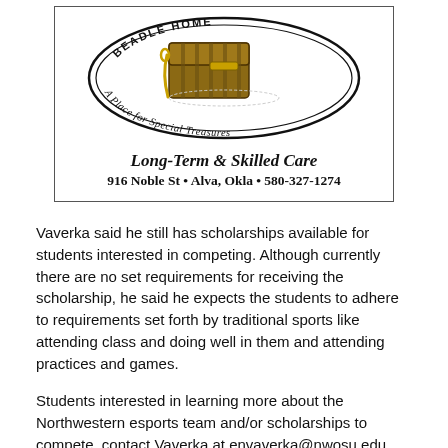[Figure (logo): Beadle Home oval logo with an antique trunk illustration and the text 'A Place for Special Treasures' around the bottom]
Long-Term & Skilled Care
916 Noble St • Alva, Okla • 580-327-1274
Vaverka said he still has scholarships available for students interested in competing. Although currently there are no set requirements for receiving the scholarship, he said he expects the students to adhere to requirements set forth by traditional sports like attending class and doing well in them and attending practices and games.
Students interested in learning more about the Northwestern esports team and/or scholarships to compete, contact Vaverka at envaverka@nwosu.edu